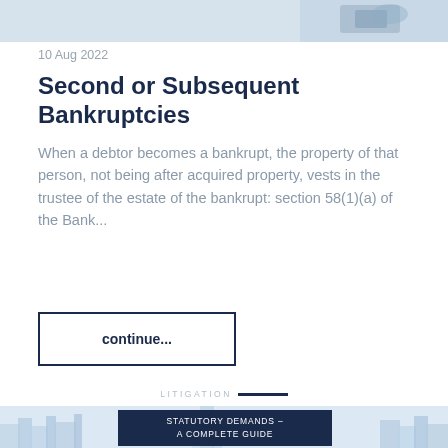[Figure (photo): Partial view of a photo at the top of the page, likely showing office or legal-related items, cropped]
10 Aug 2022
Second or Subsequent Bankruptcies
When a debtor becomes a bankrupt, the property of that person, not being after acquired property, vests in the trustee of the estate of the bankrupt:  section 58(1)(a) of the Bank...
continue...
LITIGATION
[Figure (illustration): City skyline silhouette in light blue tones with a dark navy overlay card showing 'STATUTORY DEMANDS – A COMPLETE GUIDE']